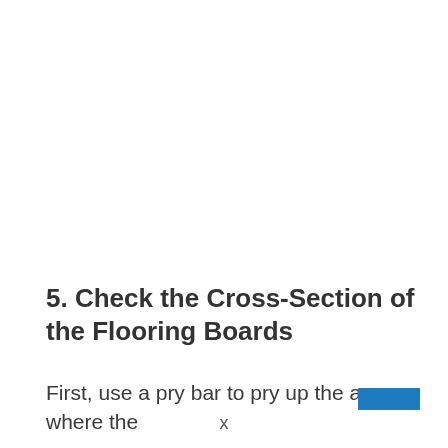5. Check the Cross-Section of the Flooring Boards
First, use a pry bar to pry up the area where the
x